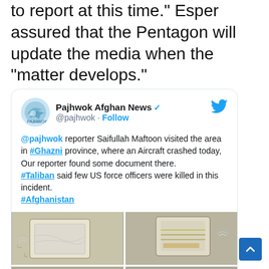to report at this time." Esper assured that the Pentagon will update the media when the “matter develops.”
[Figure (screenshot): Embedded tweet from Pajhwok Afghan News (@pajhwok) with verified badge and Follow button. Tweet text: '@pajhwok reporter Saifullah Maftoon visited the area in #Ghazni province, where an Aircraft crashed today, Our reporter found some document there. #Taliban said few US force officers were killed in this incident. #Afghanistan'. Below the text are four images in a 2x2 grid showing documents/items from the crash site, including one with 'AF 11 358' text.]